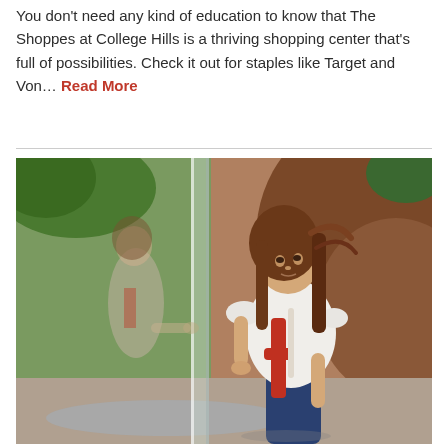You don't need any kind of education to know that The Shoppes at College Hills is a thriving shopping center that's full of possibilities. Check it out for staples like Target and Von... Read More
[Figure (photo): A young girl with long brown hair wearing a white top with red ribbon/accent, looking at her reflection in a glass window or mirror. Outdoor setting with rocks and greenery in the background.]